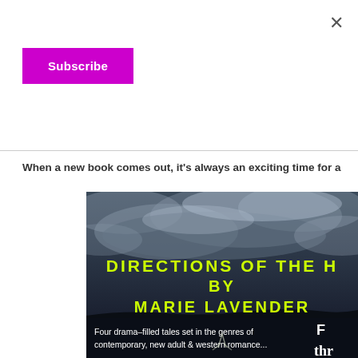×
Subscribe
When a new book comes out, it's always an exciting time for a
[Figure (photo): Book cover for 'Directions of the Heart by Marie Lavender' showing a dramatic dark cloudy sky landscape with yellow title text and white subtitle text reading 'Four drama-filled tales set in the genres of contemporary, new adult & western romance...']